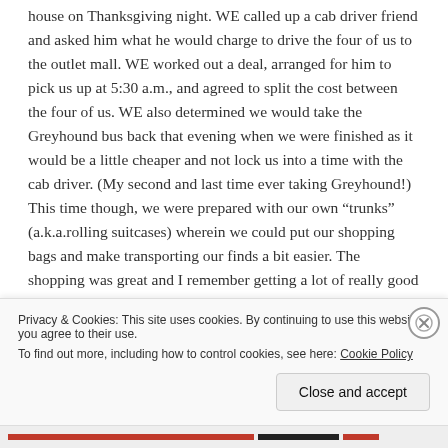house on Thanksgiving night. WE called up a cab driver friend and asked him what he would charge to drive the four of us to the outlet mall. WE worked out a deal, arranged for him to pick us up at 5:30 a.m., and agreed to split the cost between the four of us. WE also determined we would take the Greyhound bus back that evening when we were finished as it would be a little cheaper and not lock us into a time with the cab driver. (My second and last time ever taking Greyhound!) This time though, we were prepared with our own “trunks” (a.k.a.rolling suitcases) wherein we could put our shopping bags and make transporting our finds a bit easier. The shopping was great and I remember getting a lot of really good deals on some gifts for family
Privacy & Cookies: This site uses cookies. By continuing to use this website, you agree to their use.
To find out more, including how to control cookies, see here: Cookie Policy
Close and accept